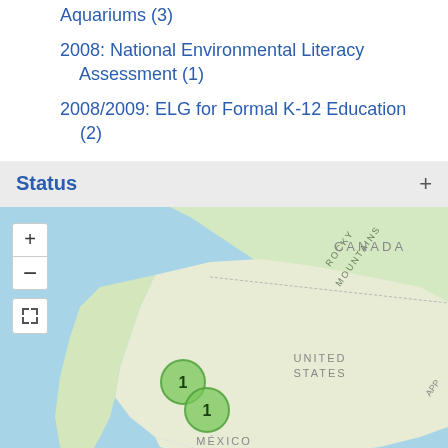Aquariums (3)
2008: National Environmental Literacy Assessment (1)
2008/2009: ELG for Formal K-12 Education (2)
Status +
[Figure (map): Interactive map of the United States showing Canada to the north, Mexico to the south, with Rocky Mountains label visible. Two green cluster markers labeled '1' are positioned along the western US coast region. Map controls include zoom in (+), zoom out (-), and fullscreen buttons.]